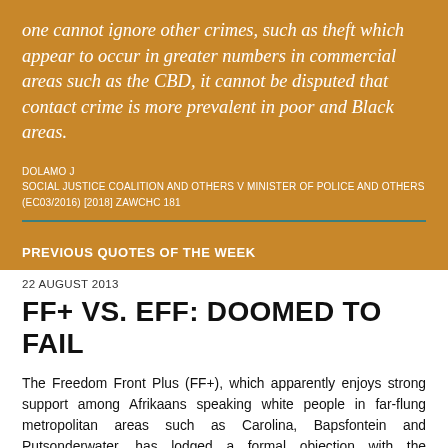one cannot ignore other crimes, such as theft which appear to occur in greater numbers in commercial areas such as the CBD, it cannot be disputed that contact crime is more prevalent in poor and Black areas.
DOLAMO J
SOCIAL JUSTICE COALITION AND OTHERS V MINISTER OF POLICE AND OTHERS (EC03/2016) [2018] ZAWCHC 181
PREVIOUS QUOTES OF THE WEEK
22 AUGUST 2013
FF+ VS. EFF: DOOMED TO FAIL
The Freedom Front Plus (FF+), which apparently enjoys strong support among Afrikaans speaking white people in far-flung metropolitan areas such as Carolina, Bapsfontein and Putsonderwater, has lodged a formal objection with the Independent Electoral Commission (IEC) against the registration of Julius Malema's Economic